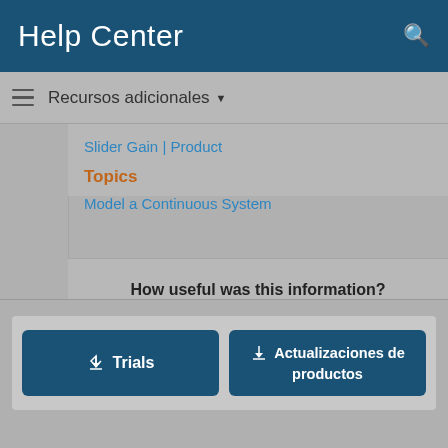Help Center
Recursos adicionales
Slider Gain | Product
Topics
Model a Continuous System
How useful was this information?
[Figure (other): Five empty star rating icons for user feedback]
Trials
Actualizaciones de productos